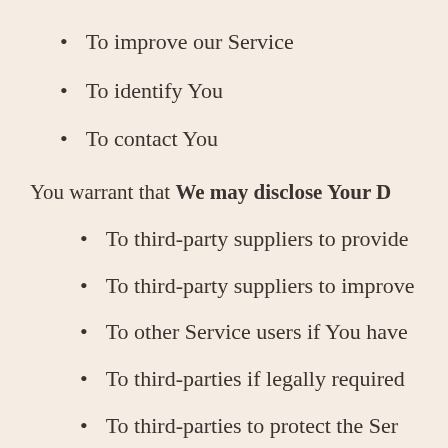To improve our Service
To identify You
To contact You
You warrant that We may disclose Your D
To third-party suppliers to provide
To third-party suppliers to improve
To other Service users if You have
To third-parties if legally required
To third-parties to protect the Ser